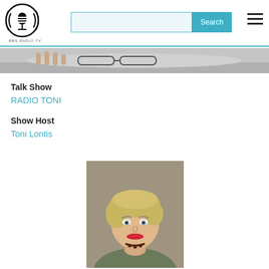[Figure (logo): BBS Radio TV logo — circular black and white design with microphone/headphone graphic, text BBS RADIO TV below]
[Figure (screenshot): Search bar with teal Search button and hamburger menu icon]
[Figure (photo): Banner image showing hands with glasses on a light background]
Talk Show
RADIO TONI
Show Host
Toni Lontis
[Figure (photo): Portrait photo of a middle-aged woman with short blond hair, red lipstick, wearing a dark top and beaded necklace, hand under chin, posing against a warm grey background]